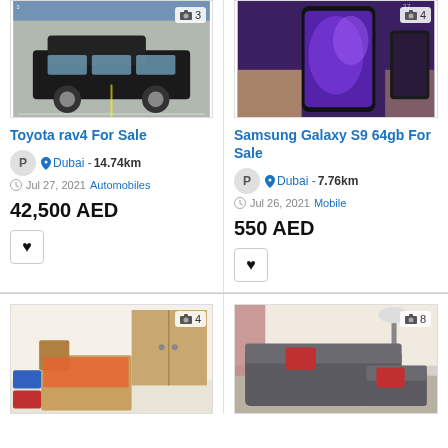[Figure (photo): Black Toyota RAV4 SUV parked in a parking lot]
Toyota rav4 For Sale
P  Dubai - 14.74km
Jul 27, 2021  Automobiles
42,500 AED
[Figure (photo): Samsung Galaxy S9 smartphone held in hand showing purple screen with photo count 4]
Samsung Galaxy S9 64gb For Sale
P  Dubai - 7.76km
Jul 26, 2021  Mobile
550 AED
[Figure (photo): Furnished bedroom with wooden bed and colorful items, photo count 4]
[Figure (photo): Grey L-shaped sofa with red cushions in living room, photo count 8]